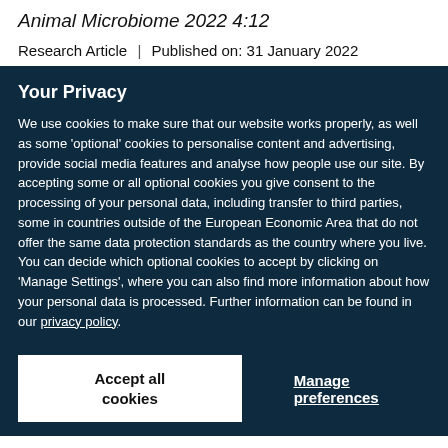Animal Microbiome 2022 4:12
Research Article | Published on: 31 January 2022
Your Privacy
We use cookies to make sure that our website works properly, as well as some ‘optional’ cookies to personalise content and advertising, provide social media features and analyse how people use our site. By accepting some or all optional cookies you give consent to the processing of your personal data, including transfer to third parties, some in countries outside of the European Economic Area that do not offer the same data protection standards as the country where you live. You can decide which optional cookies to accept by clicking on ‘Manage Settings’, where you can also find more information about how your personal data is processed. Further information can be found in our privacy policy.
Accept all cookies
Manage preferences